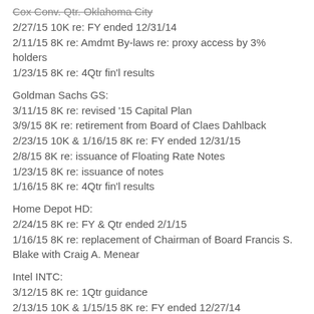Cox Conv. Qtr. Oklahoma City
2/27/15 10K re: FY ended 12/31/14
2/11/15 8K re: Amdmt By-laws re: proxy access by 3% holders
1/23/15 8K re: 4Qtr fin'l results
Goldman Sachs GS:
3/11/15 8K re: revised '15 Capital Plan
3/9/15 8K re: retirement from Board of Claes Dahlback
2/23/15 10K & 1/16/15 8K re: FY ended 12/31/15
2/8/15 8K re: issuance of Floating Rate Notes
1/23/15 8K re: issuance of notes
1/16/15 8K re: 4Qtr fin'l results
Home Depot HD:
2/24/15 8K re: FY & Qtr ended 2/1/15
1/16/15 8K re: replacement of Chairman of Board Francis S. Blake with Craig A. Menear
Intel INTC:
3/12/15 8K re: 1Qtr guidance
2/13/15 10K & 1/15/15 8K re: FY ended 12/27/14
1/15/15 8K re: fin'l results of 4Qtr ended 12/27